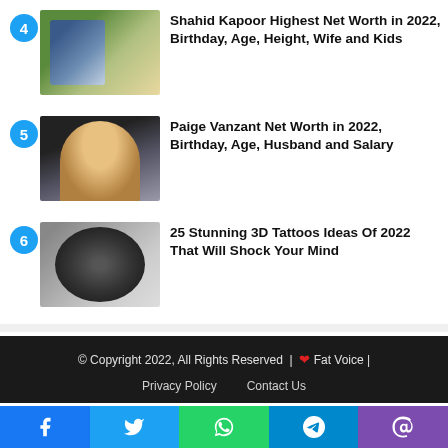4 – Shahid Kapoor Highest Net Worth in 2022, Birthday, Age, Height, Wife and Kids
5 – Paige Vanzant Net Worth in 2022, Birthday, Age, Husband and Salary
6 – 25 Stunning 3D Tattoos Ideas Of 2022 That Will Shock Your Mind
© Copyright 2022, All Rights Reserved | ❤ Fat Voice | Privacy Policy   Contact Us